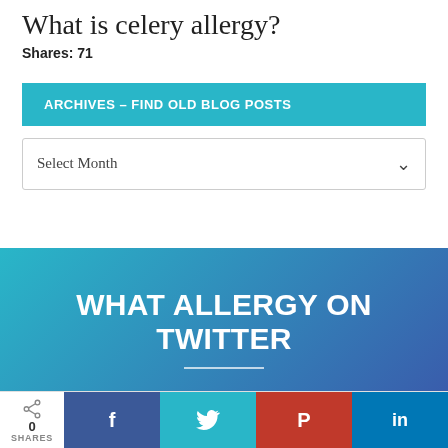What is celery allergy?
Shares: 71
ARCHIVES – FIND OLD BLOG POSTS
Select Month
WHAT ALLERGY ON TWITTER
0 SHARES  f  Twitter bird  Pinterest P  in